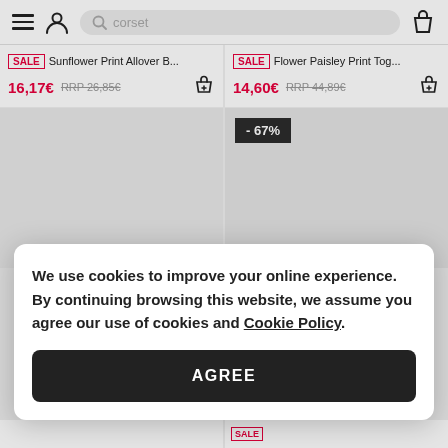[Figure (screenshot): Mobile e-commerce website navigation bar with hamburger menu, user icon, search bar showing 'corset', and shopping bag icon]
SALE  Sunflower Print Allover B...  16,17€  RRP 26,85€
SALE  Flower Paisley Print Tog...  14,60€  RRP 44,89€
-67%
We use cookies to improve your online experience. By continuing browsing this website, we assume you agree our use of cookies and Cookie Policy.
AGREE